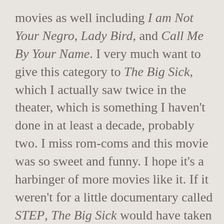movies as well including I am Not Your Negro, Lady Bird, and Call Me By Your Name. I very much want to give this category to The Big Sick, which I actually saw twice in the theater, which is something I haven't done in at least a decade, probably two. I miss rom-coms and this movie was so sweet and funny. I hope it's a harbinger of more movies like it. If it weren't for a little documentary called STEP, The Big Sick would have taken this one.

STEP made me feel all the feelings. At a time when Baltimore feels like it is literally falling apart this movie, which follows a group of girls on a